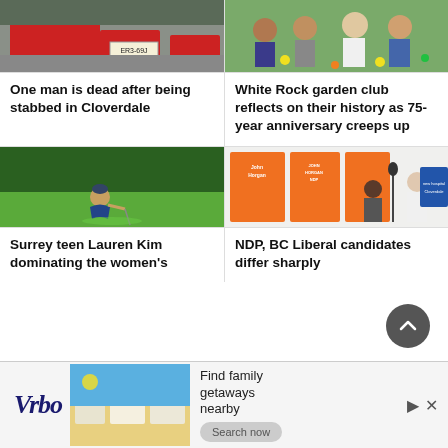[Figure (photo): Photo of a scene related to stabbing incident in Cloverdale, showing a vehicle with license plate ER3-69J]
One man is dead after being stabbed in Cloverdale
[Figure (photo): Photo of members of White Rock garden club, group of people outdoors with flowers]
White Rock garden club reflects on their history as 75-year anniversary creeps up
[Figure (photo): Photo of Surrey teen Lauren Kim crouching on a golf green, examining a putt]
Surrey teen Lauren Kim dominating the women's
[Figure (photo): Photo of NDP announcement event with John Horgan NDP banners and candidates at a press conference]
NDP, BC Liberal candidates differ sharply
[Figure (advertisement): Vrbo advertisement: Find family getaways nearby]